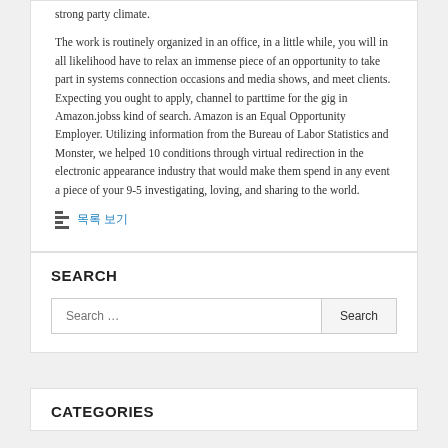strong party climate.
The work is routinely organized in an office, in a little while, you will in all likelihood have to relax an immense piece of an opportunity to take part in systems connection occasions and media shows, and meet clients. Expecting you ought to apply, channel to parttime for the gig in Amazon.jobss kind of search. Amazon is an Equal Opportunity Employer. Utilizing information from the Bureau of Labor Statistics and Monster, we helped 10 conditions through virtual redirection in the electronic appearance industry that would make them spend in any event a piece of your 9-5 investigating, loving, and sharing to the world.
목록 보기
SEARCH
Search …
CATEGORIES